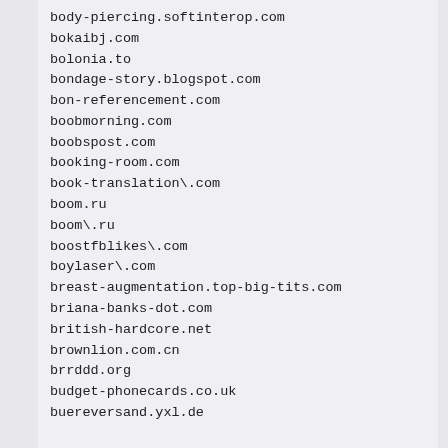body-piercing.softinterop.com
bokaibj.com
bolonia.to
bondage-story.blogspot.com
bon-referencement.com
boobmorning.com
boobspost.com
booking-room.com
book-translation\.com
boom.ru
boom\.ru
boostfblikes\.com
boylaser\.com
breast-augmentation.top-big-tits.com
briana-banks-dot.com
british-hardcore.net
brownlion.com.cn
brrddd.org
budget-phonecards.co.uk
buereversand.yxl.de